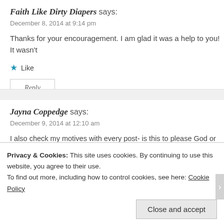Faith Like Dirty Diapers says:
December 8, 2014 at 9:14 pm
Thanks for your encouragement. I am glad it was a help to you! It wasn't
Like
Reply
Jayna Coppedge says:
December 9, 2014 at 12:10 am
I also check my motives with every post- is this to please God or to please o definitely to please God; because I don't know where those words came fro
Like
Privacy & Cookies: This site uses cookies. By continuing to use this website, you agree to their use. To find out more, including how to control cookies, see here: Cookie Policy
Close and accept